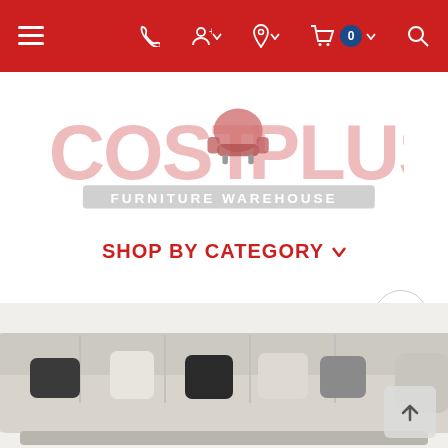Navigation bar with menu, phone, account, location, cart (0), and search icons
[Figure (logo): Cost Plus Furniture Warehouse logo — large stylized red text 'COST PLUS' with an armchair icon, and 'FURNITURE WAREHOUSE' subtitle on a gray banner]
SHOP BY CATEGORY ▾
[Figure (photo): Partial photo of a large light-colored sectional sofa with multiple decorative pillows (black, white, patterned) visible at the bottom of the page]